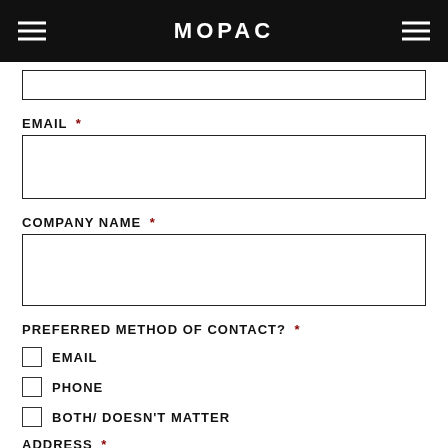MOPAC
(previous field input box, partial)
EMAIL *
(email input field)
COMPANY NAME *
(company name input field)
PREFERRED METHOD OF CONTACT? *
EMAIL
PHONE
BOTH/ DOESN'T MATTER
ADDRESS *